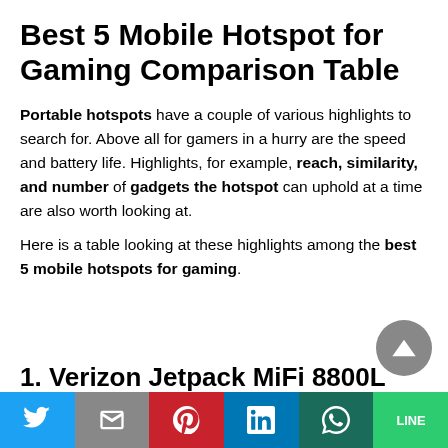Best 5 Mobile Hotspot for Gaming Comparison Table
Portable hotspots have a couple of various highlights to search for. Above all for gamers in a hurry are the speed and battery life. Highlights, for example, reach, similarity, and number of gadgets the hotspot can uphold at a time are also worth looking at.
Here is a table looking at these highlights among the best 5 mobile hotspots for gaming.
1. Verizon Jetpack MiFi 8800L